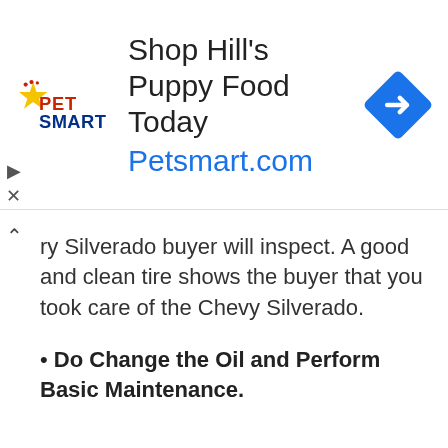[Figure (other): PetSmart advertisement banner: 'Shop Hill's Puppy Food Today' with PetSmart logo on left, blue navigation arrow icon on right, URL Petsmart.com in blue]
ry Silverado buyer will inspect. A good and clean tire shows the buyer that you took care of the Chevy Silverado.
• Do Change the Oil and Perform Basic Maintenance.